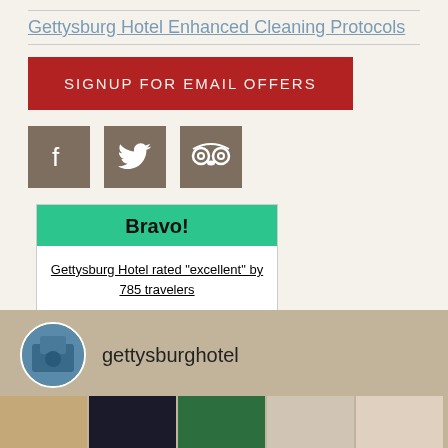Gettysburg Hotel Enhanced Cleaning Protocols
[Figure (other): Red button with text SIGNUP FOR EMAIL OFFERS]
[Figure (other): Social media icons: Facebook, Twitter, TripAdvisor on brown square backgrounds]
[Figure (other): TripAdvisor Bravo box with green header saying Bravo!, link text 'Gettysburg Hotel rated "excellent" by 785 travelers', and TripAdvisor logo]
[Figure (other): Instagram section with circular hotel photo, username gettysburghotel, and row of 5 thumbnail photos below]